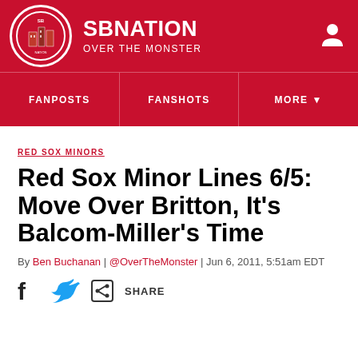SBNATION OVER THE MONSTER
[Figure (logo): SB Nation Over The Monster circular logo]
FANPOSTS | FANSHOTS | MORE
RED SOX MINORS
Red Sox Minor Lines 6/5: Move Over Britton, It's Balcom-Miller's Time
By Ben Buchanan | @OverTheMonster | Jun 6, 2011, 5:51am EDT
SHARE